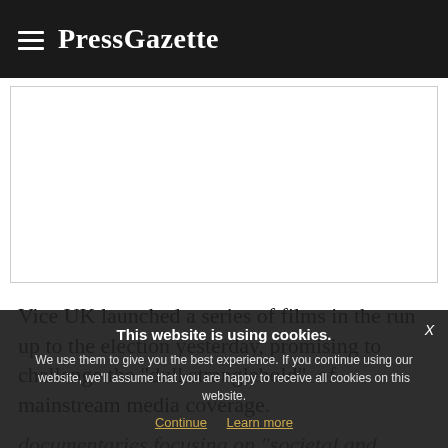PressGazette
[Figure (other): Advertisement placeholder box, white background with border]
Vice UK launched a series of films in the run up to the election yesterday, promising to challenge the "dull stranglehold" of mainstream media coverage.
documentaries focusing on "societal and
This website is using cookies. We use them to give you the best experience. If you continue using our website, we'll assume that you are happy to receive all cookies on this website. Continue  Learn more